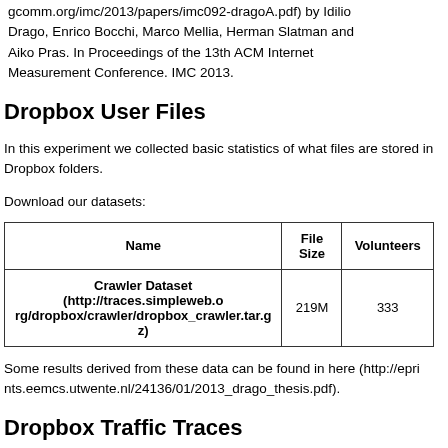gcomm.org/imc/2013/papers/imc092-dragoA.pdf) by Idilio Drago, Enrico Bocchi, Marco Mellia, Herman Slatman and Aiko Pras. In Proceedings of the 13th ACM Internet Measurement Conference. IMC 2013.
Dropbox User Files
In this experiment we collected basic statistics of what files are stored in Dropbox folders.
Download our datasets:
| Name | File Size | Volunteers |
| --- | --- | --- |
| Crawler Dataset (http://traces.simpleweb.org/dropbox/crawler/dropbox_crawler.tar.gz) | 219M | 333 |
Some results derived from these data can be found in here (http://eprints.eemcs.utwente.nl/24136/01/2013_drago_thesis.pdf).
Dropbox Traffic Traces